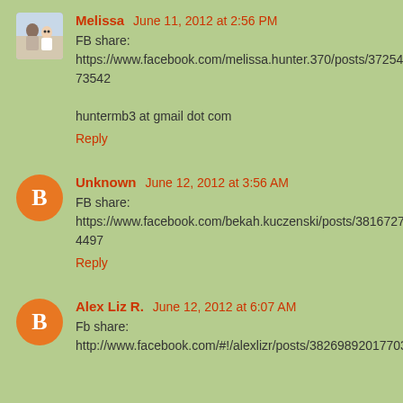Melissa  June 11, 2012 at 2:56 PM
FB share:
https://www.facebook.com/melissa.hunter.370/posts/372547209473542

huntermb3 at gmail dot com
Reply
Unknown  June 12, 2012 at 3:56 AM
FB share:
https://www.facebook.com/bekah.kuczenski/posts/381672775214497
Reply
Alex Liz R.  June 12, 2012 at 6:07 AM
Fb share:
http://www.facebook.com/#!/alexlizr/posts/383699301770342